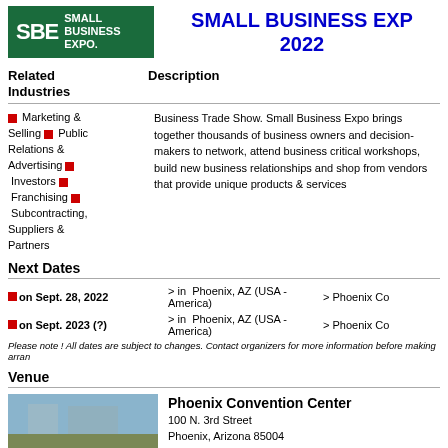[Figure (logo): Small Business Expo (SBE) green logo with text SMALL BUSINESS EXPO.]
SMALL BUSINESS EXPO 2022
Related Industries
Description
Marketing & Selling, Public Relations & Advertising, Investors, Franchising, Subcontracting, Suppliers & Partners
Business Trade Show. Small Business Expo brings together thousands of business owners and decision-makers to network, attend business critical workshops, build new business relationships and shop from vendors that provide unique products & services
Next Dates
on Sept. 28, 2022 > in Phoenix, AZ (USA - America) > Phoenix Co
on Sept. 2023 (?) > in Phoenix, AZ (USA - America) > Phoenix Co
Please note ! All dates are subject to changes. Contact organizers for more information before making arran
Venue
[Figure (photo): Photo of Phoenix Convention Center area with sky]
Phoenix Convention Center
100 N. 3rd Street
Phoenix, Arizona 85004